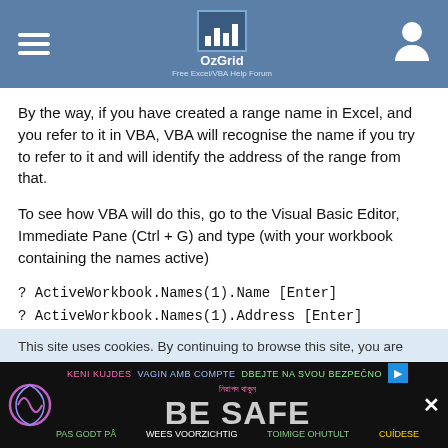OzGrid — Free Excel/VBA Help Forum
By the way, if you have created a range name in Excel, and you refer to it in VBA, VBA will recognise the name if you try to refer to it and will identify the address of the range from that.
To see how VBA will do this, go to the Visual Basic Editor, Immediate Pane (Ctrl + G) and type (with your workbook containing the names active)
? ActiveWorkbook.Names(1).Name [Enter]
? ActiveWorkbook.Names(1).Address [Enter]
Regards,
Batman.
This site uses cookies. By continuing to browse this site, you are
[Figure (infographic): BE SAFE multilingual ad banner with colorful safety messages]